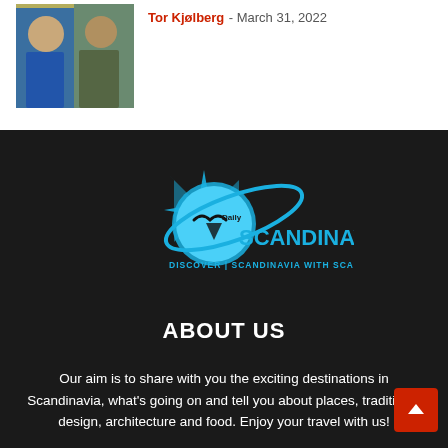[Figure (photo): Author photo showing two people in costume/historical dress]
Tor Kjølberg - March 31, 2022
[Figure (logo): Daily Scandinavian logo - compass and seagull with text 'Daily SCANDINAVIAN - DISCOVER SCANDINAVIA WITH SCANDINAVIANS']
ABOUT US
Our aim is to share with you the exciting destinations in Scandinavia, what's going on and tell you about places, traditions, design, architecture and food. Enjoy your travel with us!